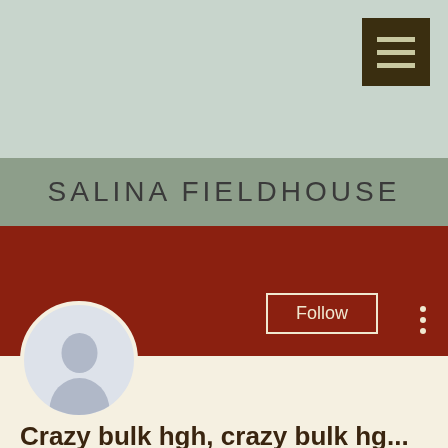SALINA FIELDHOUSE
[Figure (screenshot): User profile page screenshot for 'Crazy bulk hgh, crazy bulk hg...' with 0 Followers and 0 Following on Salina Fieldhouse platform]
Crazy bulk hgh, crazy bulk hg...
0 Followers • 0 Following
Profile